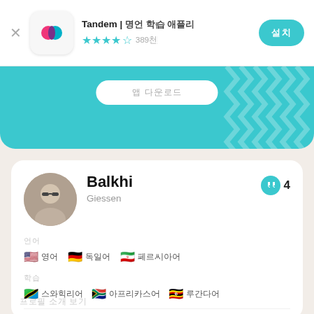Tandem | 한국어 영어 독일어 학습 × ★★★★☆ 389천 설치
[Figure (screenshot): Teal banner with white rounded button showing Korean text]
Balkhi
Giessen
언어 목록
🇺🇸 영어  🇩🇪 독일어  🇮🇷 페르시아어
학습 중
🇹🇿 스와힐리어  🇿🇦 아프리칸스어  🇺🇬 루간다어
프로필 소개 보기